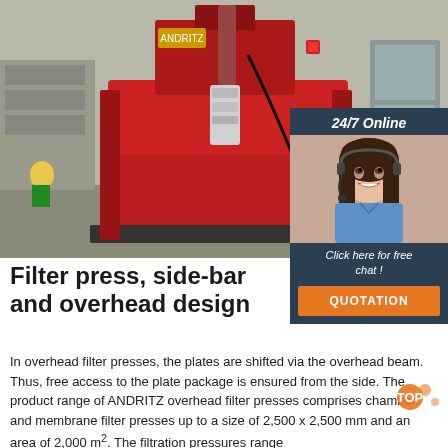[Figure (photo): Large industrial red filter press machine photographed in a factory/warehouse setting, showing overhead design with mechanical components]
[Figure (photo): Customer service representative (woman with headset, smiling) in a dark blue panel with '24/7 Online' header and 'Click here for free chat!' text and orange QUOTATION button]
Filter press, side-bar and overhead design
In overhead filter presses, the plates are shifted via the overhead beam. Thus, free access to the plate package is ensured from the side. The product range of ANDRITZ overhead filter presses comprises chamber and membrane filter presses up to a size of 2,500 x 2,500 mm and an area of 2,000 m². The filtration pressures range